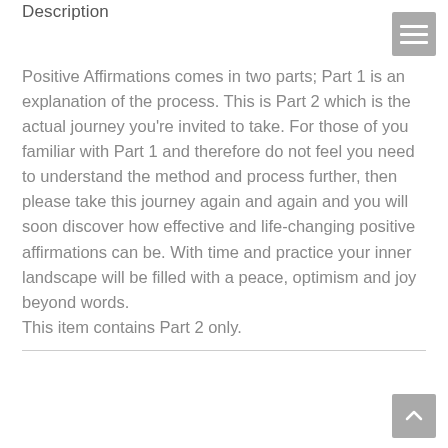Description
Positive Affirmations comes in two parts; Part 1 is an explanation of the process.  This is Part 2 which is the actual journey you're invited to take. For those of you familiar with Part 1 and therefore do not feel you need to understand the method and process further, then please take this journey again and again and you will soon discover how effective and life-changing positive affirmations can be.  With time and practice your inner landscape will be filled with a peace, optimism and joy beyond words.
This item contains Part 2 only.